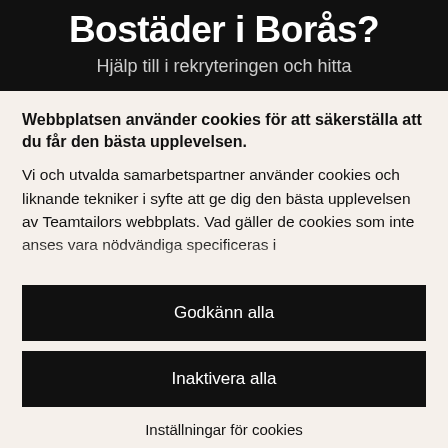Bostäder i Borås?
Hjälp till i rekryteringen och hitta
Webbplatsen använder cookies för att säkerställa att du får den bästa upplevelsen. Vi och utvalda samarbetspartner använder cookies och liknande tekniker i syfte att ge dig den bästa upplevelsen av Teamtailors webbplats. Vad gäller de cookies som inte anses vara nödvändiga specificeras i
Godkänn alla
Inaktivera alla
Inställningar för cookies